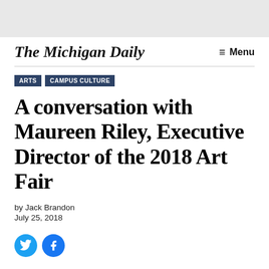The Michigan Daily
ARTS
CAMPUS CULTURE
A conversation with Maureen Riley, Executive Director of the 2018 Art Fair
by Jack Brandon
July 25, 2018